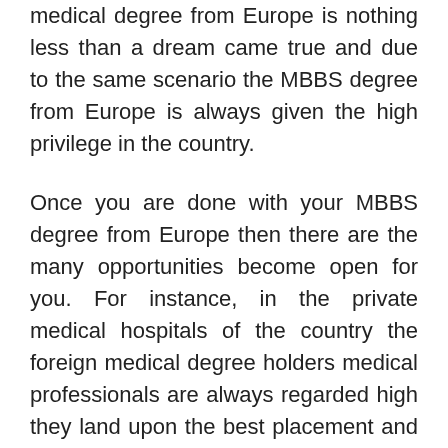medical degree from Europe is nothing less than a dream came true and due to the same scenario the MBBS degree from Europe is always given the high privilege in the country.
Once you are done with your MBBS degree from Europe then there are the many opportunities become open for you. For instance, in the private medical hospitals of the country the foreign medical degree holders medical professionals are always regarded high they land upon the best placement and the salary packages.
Moreover, you can also start your medical practices in India if you have the European medical degree, however qualifying the MCI screening test would be mandatory in such a scenario.